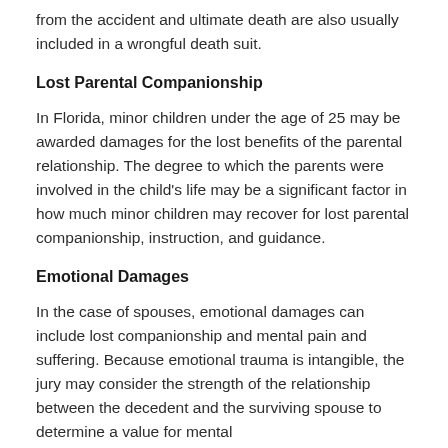from the accident and ultimate death are also usually included in a wrongful death suit.
Lost Parental Companionship
In Florida, minor children under the age of 25 may be awarded damages for the lost benefits of the parental relationship. The degree to which the parents were involved in the child’s life may be a significant factor in how much minor children may recover for lost parental companionship, instruction, and guidance.
Emotional Damages
In the case of spouses, emotional damages can include lost companionship and mental pain and suffering. Because emotional trauma is intangible, the jury may consider the strength of the relationship between the decedent and the surviving spouse to determine a value for mental